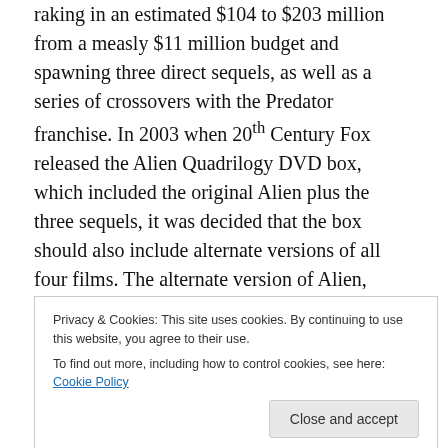raking in an estimated $104 to $203 million from a measly $11 million budget and spawning three direct sequels, as well as a series of crossovers with the Predator franchise. In 2003 when 20th Century Fox released the Alien Quadrilogy DVD box, which included the original Alien plus the three sequels, it was decided that the box should also include alternate versions of all four films. The alternate version of Alien, labelled the 'Director's Cut,' has been re-edited to restore several deleted scenes (such as one where, during her escape from the Nostromo, Ripley discovers Dallas and Brett cocooned) but omits several
Privacy & Cookies: This site uses cookies. By continuing to use this website, you agree to their use. To find out more, including how to control cookies, see here: Cookie Policy
Such is not the case with Alien: The Director's Cut. It is a